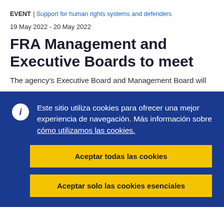EVENT | Support for human rights systems and defenders
19 May 2022 - 20 May 2022
FRA Management and Executive Boards to meet
The agency's Executive Board and Management Board will
Este sitio utiliza cookies para ofrecer una mejor experiencia de navegación. Más información sobre cómo utilizamos las cookies.
Aceptar todas las cookies
Aceptar solo las cookies esenciales